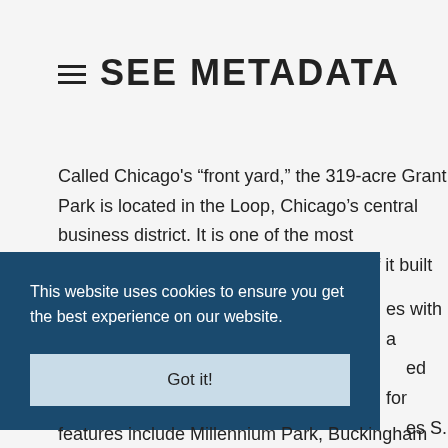≡ SEE METADATA
Called Chicago's “front yard,” the 319-acre Grant Park is located in the Loop, Chicago's central business district. It is one of the most engineered of public parks, with much of it built on landfill and
This website uses cookies to ensure you get the best experience on our website.
Got it!
es with a
ed for
es S.
Chicago's
ough
e
features include Millennium Park, Buckingham